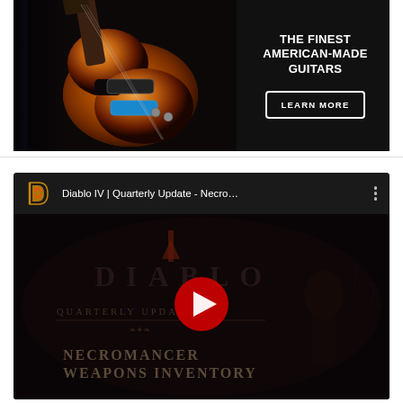[Figure (photo): Advertisement banner for American-made guitars. Shows an electric guitar (Les Paul style in sunburst finish) on the left against a dark background, with text 'THE FINEST AMERICAN-MADE GUITARS' and a 'LEARN MORE' button on the right side.]
[Figure (screenshot): YouTube video embed showing Diablo IV | Quarterly Update - Necro... with a play button overlay. The thumbnail shows the Diablo logo, text 'QUARTERLY UPDATE' and 'NECROMANCER WEAPONS INVENTORY' on a dark background with skeletal imagery.]